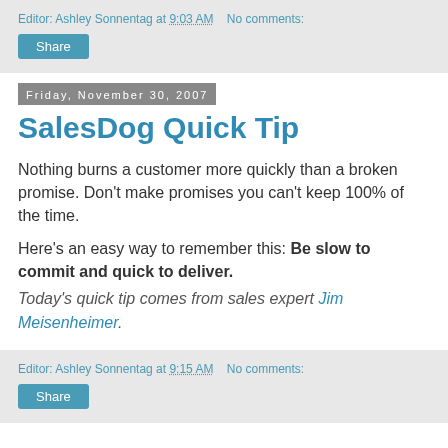Editor: Ashley Sonnentag at 9:03 AM   No comments:
Share
Friday, November 30, 2007
SalesDog Quick Tip
Nothing burns a customer more quickly than a broken promise. Don't make promises you can't keep 100% of the time.
Here's an easy way to remember this: Be slow to commit and quick to deliver.
Today's quick tip comes from sales expert Jim Meisenheimer.
Editor: Ashley Sonnentag at 9:15 AM   No comments:
Share